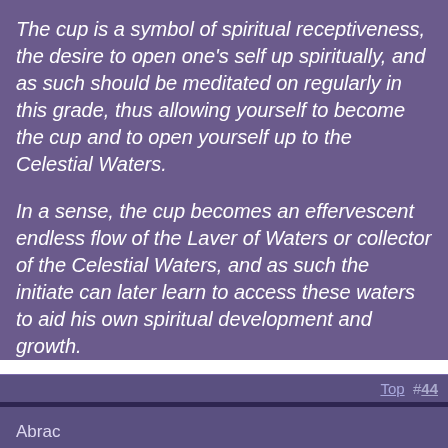The cup is a symbol of spiritual receptiveness, the desire to open one's self up spiritually, and as such should be meditated on regularly in this grade, thus allowing yourself to become the cup and to open yourself up to the Celestial Waters.
In a sense, the cup becomes an effervescent endless flow of the Laver of Waters or collector of the Celestial Waters, and as such the initiate can later learn to access these waters to aid his own spiritual development and growth.
Top  #44
Abrac
Ran across an interesting tidbit in R. A. Gilbert's The